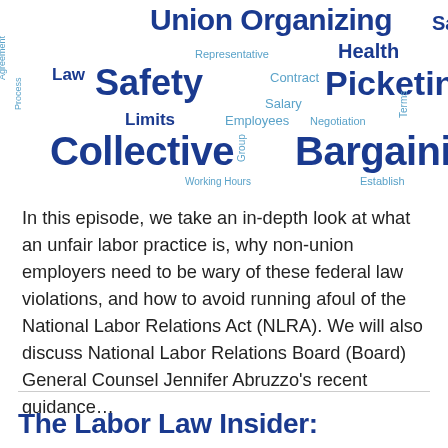[Figure (infographic): Word cloud with labor law related terms including: Union Organizing, Safety, Collective Bargaining, Picketing, Health, Law, Employment, Representative, Contract, Salary, Limits, Employees, Negotiation, Working Hours, Group, Establish, Terms, Agreement, Process]
In this episode, we take an in-depth look at what an unfair labor practice is, why non-union employers need to be wary of these federal law violations, and how to avoid running afoul of the National Labor Relations Act (NLRA). We will also discuss National Labor Relations Board (Board) General Counsel Jennifer Abruzzo's recent guidance…
The Labor Law Insider: